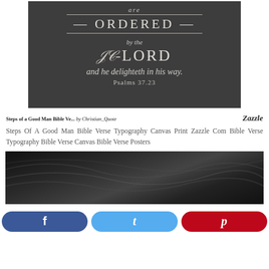[Figure (illustration): Chalkboard style image with Bible verse text: 'are ORDERED by the LORD and he delighteth in his way. Psalms 37.23']
Steps of a Good Man Bible Ve... by Christian_Quote   Zazzle
Steps Of A Good Man Bible Verse Typography Canvas Print Zazzle Com Bible Verse Typography Bible Verse Canvas Bible Verse Posters
[Figure (photo): Dark satin or silk fabric texture, close-up, with soft folds and highlights]
[Figure (infographic): Social sharing buttons: Facebook (blue), Twitter (light blue), Pinterest (red)]